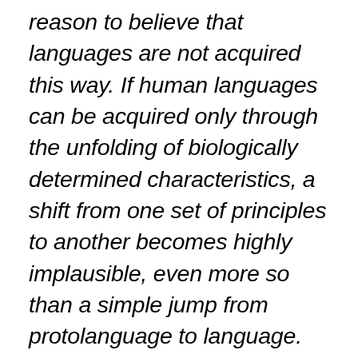reason to believe that languages are not acquired this way. If human languages can be acquired only through the unfolding of biologically determined characteristics, a shift from one set of principles to another becomes highly implausible, even more so than a simple jump from protolanguage to language. Such a process would imply that one type of processing mechanism in the brain grew and flourished for a time but was then replaced by another. Although such possibilities cannot be completely discounted, there would seem little point in adopting them if a